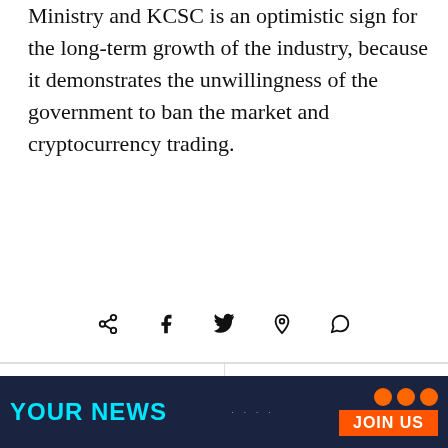Ministry and KCSC is an optimistic sign for the long-term growth of the industry, because it demonstrates the unwillingness of the government to ban the market and cryptocurrency trading.
[Figure (infographic): Social share icons: share, facebook, twitter, pinterest, whatsapp]
Previous article
Nvidia: Gamers First for Graphics Cards
Next article
Bitcoin Cash Price Technical Analysis
Samuel Frederick
[Figure (infographic): Bottom banner with dark navy background. Text: YOUR NEWS in cyan, JOIN US button in orange, decorative dots and orange circles.]